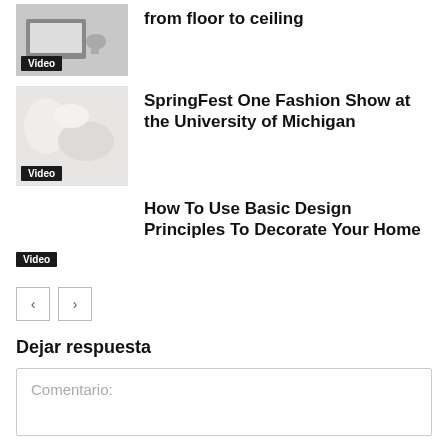[Figure (photo): Thumbnail image of person using laptop/phone with Video badge]
from floor to ceiling
[Figure (photo): Thumbnail image with light fabric/flowers with Video badge]
SpringFest One Fashion Show at the University of Michigan
How To Use Basic Design Principles To Decorate Your Home
Video
Dejar respuesta
Comentario: